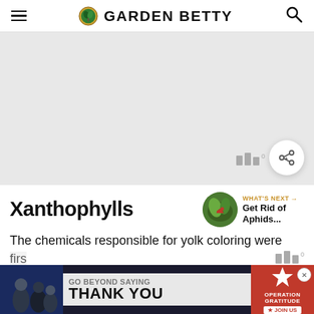GARDEN BETTY
[Figure (photo): Hero image area, light gray background with Garden Betty article photo placeholder, share button overlay]
Xanthophylls
[Figure (photo): Thumbnail image of aphids on a green plant stem for 'What's Next: Get Rid of Aphids...' widget]
WHAT'S NEXT → Get Rid of Aphids...
The chemicals responsible for yolk coloring were first
[Figure (photo): Advertisement banner: GO BEYOND SAYING THANK YOU — Operation Gratitude, JOIN US]